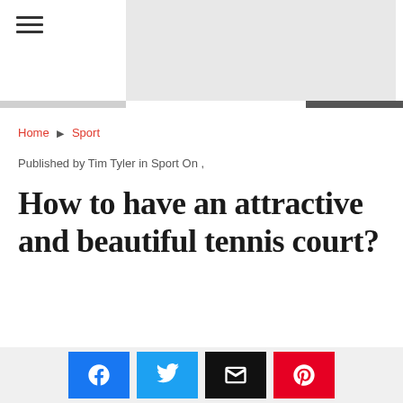☰ [navigation header with hamburger menu and logo area]
Home ▶ Sport
Published by Tim Tyler in Sport On ,
How to have an attractive and beautiful tennis court?
[Social share buttons: Facebook, Twitter, Email, Pinterest]